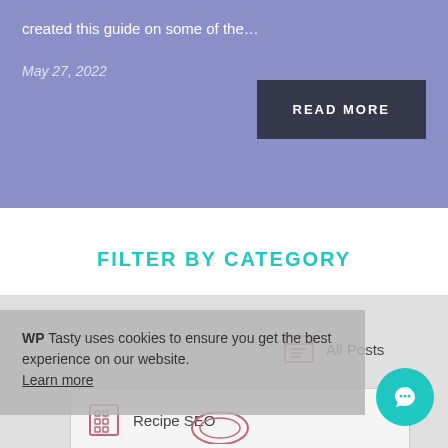created this guide on some of the...
May 27, 2022
READ MORE
FILTER BY CATEGORY
WP Tasty uses cookies to ensure you get the best experience on our website. Learn more
All Posts
Recipe SEO